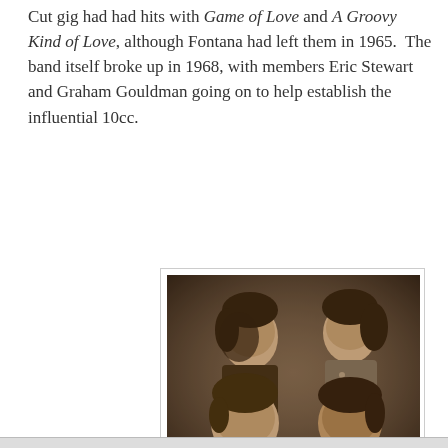Cut gig had had hits with Game of Love and A Groovy Kind of Love, although Fontana had left them in 1965.  The band itself broke up in 1968, with members Eric Stewart and Graham Gouldman going on to help establish the influential 10cc.
[Figure (photo): Sepia-toned vintage photograph showing four young men (Wayne Fontana and the Mindbenders) posed together for a group portrait.]
Wayne Fontana and the Mindbenders